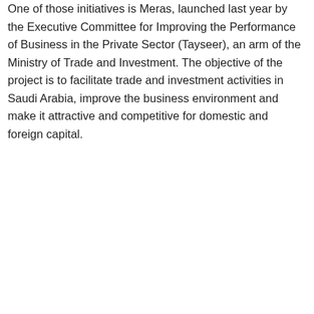One of those initiatives is Meras, launched last year by the Executive Committee for Improving the Performance of Business in the Private Sector (Tayseer), an arm of the Ministry of Trade and Investment. The objective of the project is to facilitate trade and investment activities in Saudi Arabia, improve the business environment and make it attractive and competitive for domestic and foreign capital.